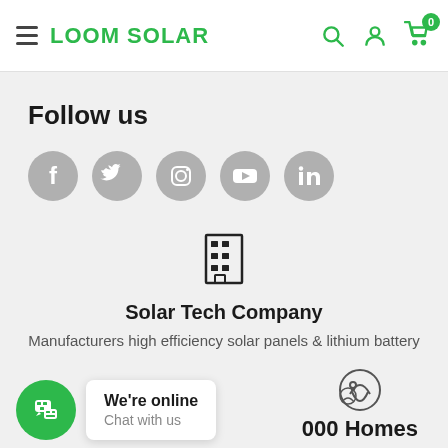LOOM SOLAR
Follow us
[Figure (illustration): Social media icons: Facebook, Twitter, Instagram, YouTube, LinkedIn — all grey circles with white icons]
[Figure (illustration): Building/office icon]
Solar Tech Company
Manufacturers high efficiency solar panels & lithium battery
We're online
Chat with us
000 Homes